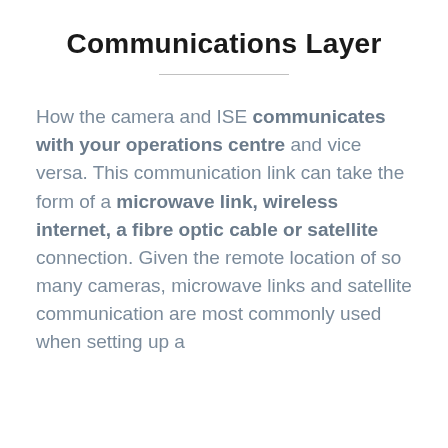Communications Layer
How the camera and ISE communicates with your operations centre and vice versa. This communication link can take the form of a microwave link, wireless internet, a fibre optic cable or satellite connection. Given the remote location of so many cameras, microwave links and satellite communication are most commonly used when setting up a